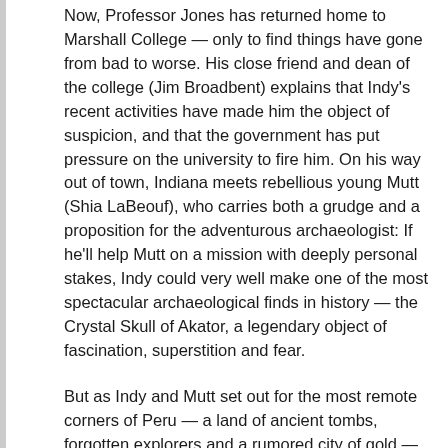Now, Professor Jones has returned home to Marshall College — only to find things have gone from bad to worse. His close friend and dean of the college (Jim Broadbent) explains that Indy's recent activities have made him the object of suspicion, and that the government has put pressure on the university to fire him. On his way out of town, Indiana meets rebellious young Mutt (Shia LaBeouf), who carries both a grudge and a proposition for the adventurous archaeologist: If he'll help Mutt on a mission with deeply personal stakes, Indy could very well make one of the most spectacular archaeological finds in history — the Crystal Skull of Akator, a legendary object of fascination, superstition and fear.
But as Indy and Mutt set out for the most remote corners of Peru — a land of ancient tombs, forgotten explorers and a rumored city of gold — they quickly realize they are not alone in their search. The Soviet agents are also hot on the trail of the Crystal Skull. Chief among them is icy cold, devastatingly beautiful Irina Spalko (Cate Blanchett), whose elite military unit is scouring the globe for the eerie Crystal Skull, which they believe can help the Soviets dominate the world... if they can unlock its secrets.